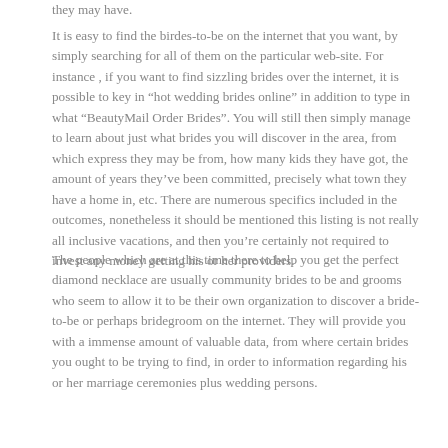they may have.
It is easy to find the birdes-to-be on the internet that you want, by simply searching for all of them on the particular web-site. For instance , if you want to find sizzling brides over the internet, it is possible to key in “hot wedding brides online” in addition to type in what “BeautyMail Order Brides”. You will still then simply manage to learn about just what brides you will discover in the area, from which express they may be from, how many kids they have got, the amount of years they’ve been committed, precisely what town they have a home in, etc. There are numerous specifics included in the outcomes, nonetheless it should be mentioned this listing is not really all inclusive vacations, and then you’re certainly not required to invest any money getting his or her providers.
The people which are at this time there to help you get the perfect diamond necklace are usually community brides to be and grooms who seem to allow it to be their own organization to discover a bride-to-be or perhaps bridegroom on the internet. They will provide you with a immense amount of valuable data, from where certain brides you ought to be trying to find, in order to information regarding his or her marriage ceremonies plus wedding persons.